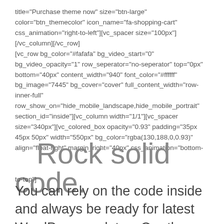title="Purchase theme now" size="btn-large" color="btn_themecolor" icon_name="fa-shopping-cart" css_animation="right-to-left"][vc_spacer size="100px"] [/vc_column][/vc_row] [vc_row bg_color="#fafafa" bg_video_start="0" bg_video_opacity="1" row_seperator="no-seperator" top="0px" bottom="40px" content_width="940" font_color="#ffffff" bg_image="7445" bg_cover="cover" full_content_width="row-inner-full" row_show_on="hide_mobile_landscape,hide_mobile_portrait" section_id="inside"][vc_column width="1/1"][vc_spacer size="340px"][vc_colored_box opacity="0.93" padding="35px 45px 50px" width="550px" bg_color="rgba(130,188,0,0.93)" align="float-right" margin_right="40px" css_animation="bottom-
to-top"] Rock solid code.
You can rely on the code inside and always be ready for latest WordPress updates. Our theme is built using